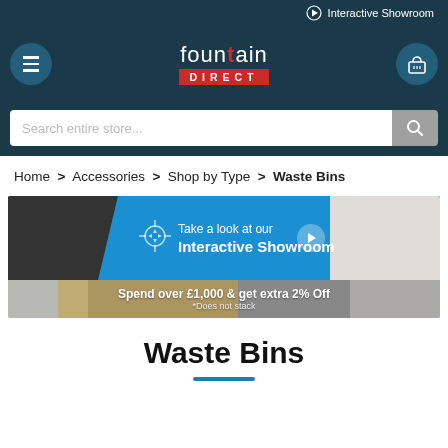Interactive Showroom
[Figure (screenshot): Fountain Direct logo with hamburger menu and basket icons on dark teal navigation bar]
Search entire store...
Home > Accessories > Shop by Type > Waste Bins
[Figure (illustration): Interactive Showroom banner with shower and bathroom imagery on blue/teal diagonal design]
[Figure (illustration): Spend over £1,000 & get extra 2% Off *Does not stack promotional banner]
Waste Bins